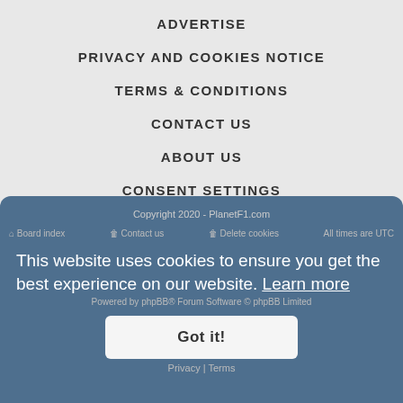ADVERTISE
PRIVACY AND COOKIES NOTICE
TERMS & CONDITIONS
CONTACT US
ABOUT US
CONSENT SETTINGS
[Figure (logo): PlanetF1 logo with 'planet' in black bold and 'f1' in red bold]
Copyright 2020 - PlanetF1.com
This website uses cookies to ensure you get the best experience on our website. Learn more
Board index   Contact us   Delete cookies   All times are UTC
Powered by phpBB® Forum Software © phpBB Limited
Privacy | Terms
Got it!